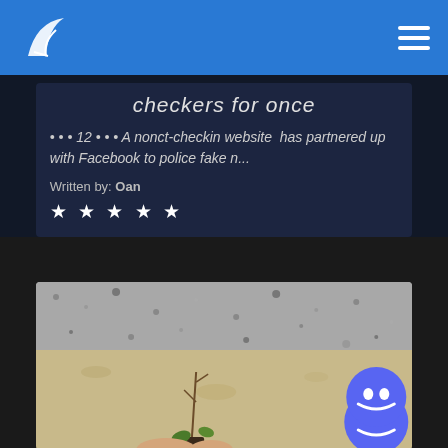checkers for once
• • • 12 • • • A nonct-checkin website has partnered up with Facebook to police fake n...
Written by: Oan
★ ★ ★ ★ ★
[Figure (photo): A person holding a tiny plant seedling with a gravel road or driveway in the background. A Discord logo button overlays the bottom-right corner.]